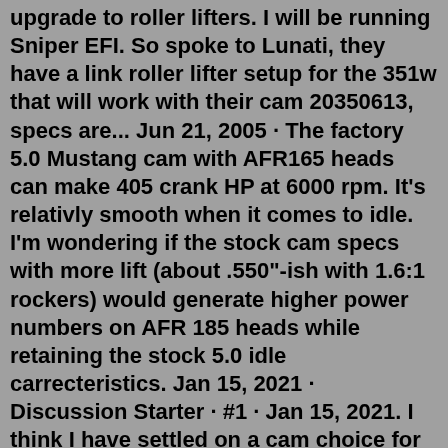upgrade to roller lifters. I will be running Sniper EFI. So spoke to Lunati, they have a link roller lifter setup for the 351w that will work with their cam 20350613, specs are... Jun 21, 2005 · The factory 5.0 Mustang cam with AFR165 heads can make 405 crank HP at 6000 rpm. It's relativly smooth when it comes to idle. I'm wondering if the stock cam specs with more lift (about .550"-ish with 1.6:1 rockers) would generate higher power numbers on AFR 185 heads while retaining the stock 5.0 idle carrecteristics. Jan 15, 2021 · Discussion Starter · #1 · Jan 15, 2021. I think I have settled on a cam choice for the 351w build, wanted a smooth idle as much as possible but wanted to upgrade to roller lifters. I will be running Sniper EFI. So spoke to Lunati, they have a link roller lifter setup for the 351w that will work with their cam 20350613, specs are... Sep 16, 2003 · A Calculation Methodology for Cam Overlap Optimization Towards Combustion Quality at Idle in IC SI Engines 2003-32-0040 Engine stability at idle is an important factor that influences the behaviour of an I.C., S.I. engine, in